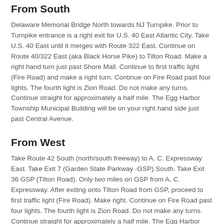From South
Delaware Memorial Bridge North towards NJ Turnpike. Prior to Turnpike entrance is a right exit for U.S. 40 East Atlantic City. Take U.S. 40 East until it merges with Route 322 East. Continue on Route 40/322 East (aka Black Horse Pike) to Tilton Road. Make a right hand turn just past Shore Mall. Continue to first traffic light (Fire Road) and make a right turn. Continue on Fire Road past four lights. The fourth light is Zion Road. Do not make any turns. Continue straight for approximately a half mile. The Egg Harbor Township Municipal Building will be on your right hand side just past Central Avenue.
From West
Take Route 42 South (north/south freeway) to A. C. Expressway East. Take Exit 7 (Garden State Parkway -GSP) South. Take Exit 36 GSP (Tilton Road). Only two miles on GSP from A. C. Expressway. After exiting onto Tilton Road from GSP, proceed to first traffic light (Fire Road). Make right. Continue on Fire Road past four lights. The fourth light is Zion Road. Do not make any turns. Continue straight for approximately a half mile. The Egg Harbor Township Municipal Building will be on your right hand side just past Central Avenue.